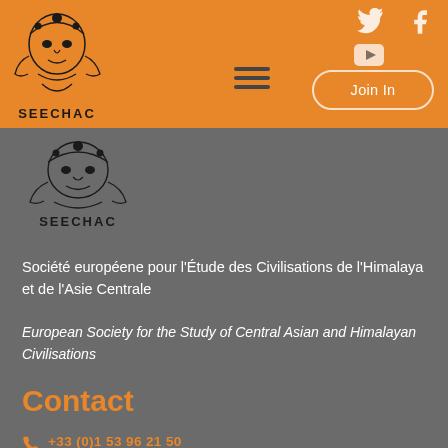[Figure (logo): SEECHAC logo — stylized deity figure with text SEECHAC below, shown in orange header]
[Figure (logo): SEECHAC logo — stylized deity figure with text SEECHAC below, shown in gray section]
Société européene pour l'Étude des Civilisations de l'Himalaya et de l'Asie Centrale
European Society for the Study of Central Asian and Himalayan Civilisations
Contact
+33 (0)1 53 96 21 50